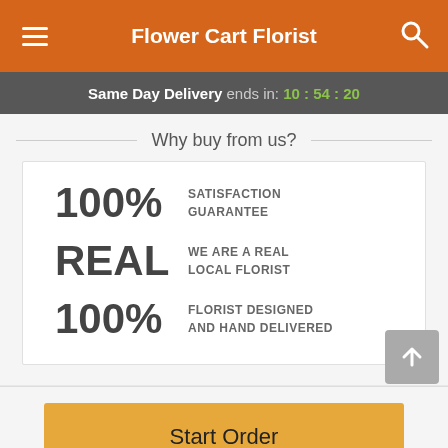Flower Cart Florist
Same Day Delivery ends in: 10:54:20
Why buy from us?
100% SATISFACTION GUARANTEE
REAL WE ARE A REAL LOCAL FLORIST
100% FLORIST DESIGNED AND HAND DELIVERED
Start Order